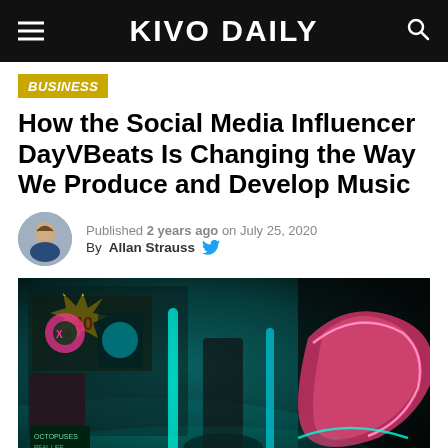KIVO DAILY
BUSINESS
How the Social Media Influencer DayVBeats Is Changing the Way We Produce and Develop Music
Published 2 years ago on July 25, 2020
By Allan Strauss
[Figure (photo): Colorful neon-lit nightclub or entertainment venue scene with vibrant teal, pink, and purple neon lights. Shows decorative elements including a sign with '40', neon-lit cylindrical columns, and what appears to be a stylized helmet or costume piece in the foreground right.]